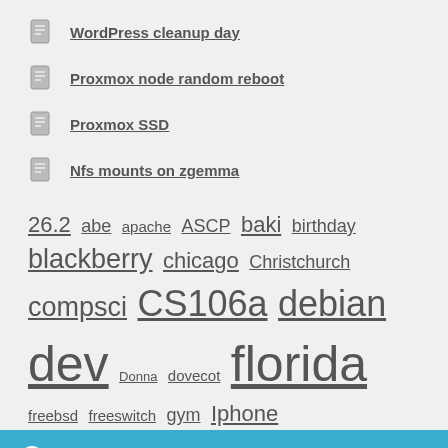WordPress cleanup day
Proxmox node random reboot
Proxmox SSD
Nfs mounts on zgemma
26.2 abe apache ASCP baki birthday blackberry chicago Christchurch compsci CS106a debian dev Donna dovecot florida freebsd freeswitch gym Iphone
It fits! Dismiss